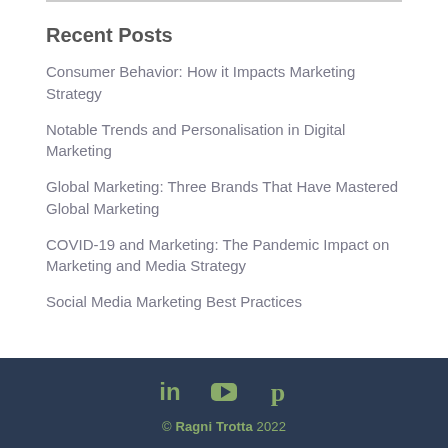Recent Posts
Consumer Behavior: How it Impacts Marketing Strategy
Notable Trends and Personalisation in Digital Marketing
Global Marketing: Three Brands That Have Mastered Global Marketing
COVID-19 and Marketing: The Pandemic Impact on Marketing and Media Strategy
Social Media Marketing Best Practices
© Ragni Trotta 2022